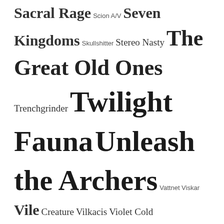Sacral Rage Scion A/V Seven Kingdoms Skullshitter Stereo Nasty The Great Old Ones Trenchgrinder Twilight Fauna Unleash the Archers Vattnet Viskar Vile Creature Vilkacis Violet Cold Visigoth Void Ritual War Elephant Winterfylleth Woe Yellow Eyes Yeti On Horseback
CATEGORIES
Avant-garde (17)
Beer (3)